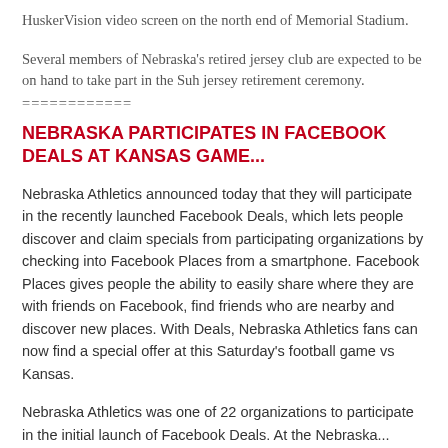HuskerVision video screen on the north end of Memorial Stadium.
Several members of Nebraska's retired jersey club are expected to be on hand to take part in the Suh jersey retirement ceremony.
============
NEBRASKA PARTICIPATES IN FACEBOOK DEALS AT KANSAS GAME...
Nebraska Athletics announced today that they will participate in the recently launched Facebook Deals, which lets people discover and claim specials from participating organizations by checking into Facebook Places from a smartphone. Facebook Places gives people the ability to easily share where they are with friends on Facebook, find friends who are nearby and discover new places. With Deals, Nebraska Athletics fans can now find a special offer at this Saturday's football game vs Kansas.
Nebraska Athletics was one of 22 organizations to participate in the initial launch of Facebook Deals. At the Nebraska...